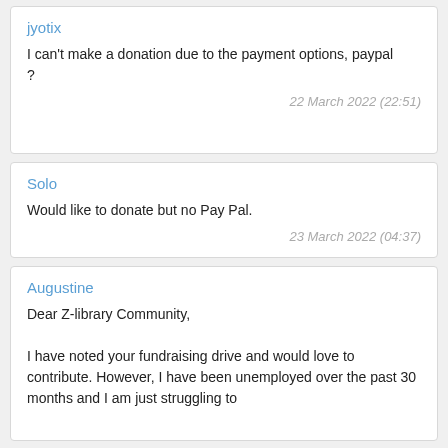jyotix
I can't make a donation due to the payment options, paypal
?
22 March 2022 (22:51)
Solo
Would like to donate but no Pay Pal.
23 March 2022 (04:37)
Augustine
Dear Z-library Community,

I have noted your fundraising drive and would love to contribute. However, I have been unemployed over the past 30 months and I am just struggling to